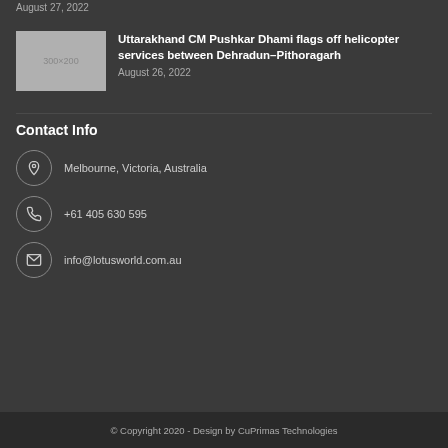August 27, 2022
[Figure (photo): Thumbnail placeholder image 300x200]
Uttarakhand CM Pushkar Dhami flags off helicopter services between Dehradun–Pithoragarh
August 26, 2022
Contact Info
Melbourne, Victoria, Australia
+61 405 630 595
info@lotusworld.com.au
© Copyright 2020 - Design by CuPrimas Technologies